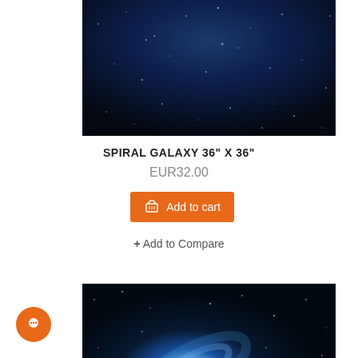[Figure (photo): Top portion of a spiral galaxy image — dark blue space background with scattered stars]
SPIRAL GALAXY 36" X 36"
EUR32.00
Add to cart
+ Add to Compare
[Figure (photo): Spiral galaxy with bright glowing white-blue center and star field on dark blue space background]